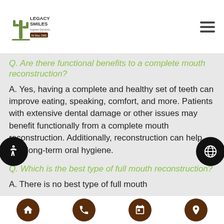Legacy Smiles
Q. Are there functional benefits to a complete mouth reconstruction?
A. Yes, having a complete and healthy set of teeth can improve eating, speaking, comfort, and more. Patients with extensive dental damage or other issues may benefit functionally from a complete mouth reconstruction. Additionally, reconstruction can help with long-term oral hygiene.
Q. Which is the best type of full mouth reconstruction?
A. There is no best type of full mouth
Navigation icons: home, phone, calendar, location